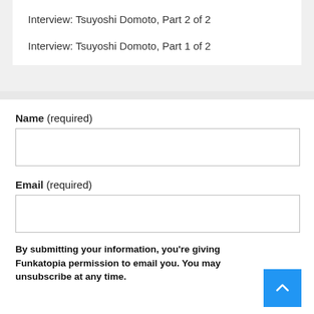Interview: Tsuyoshi Domoto, Part 2 of 2
Interview: Tsuyoshi Domoto, Part 1 of 2
Name (required)
Email (required)
By submitting your information, you're giving Funkatopia permission to email you. You may unsubscribe at any time.